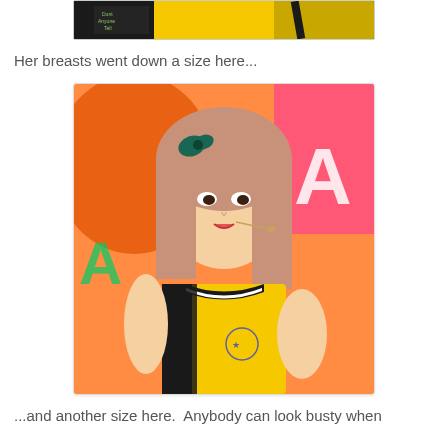[Figure (photo): Partial photo at top of page showing a person in a yellow outfit with a black strap, cropped]
Her breasts went down a size here...
[Figure (photo): Photo of a young woman performing on stage wearing a yellow and black outfit, with pink/brown hair and a blue bow, holding a microphone headset, colorful graffiti background]
...and another size here.  Anybody can look busty when